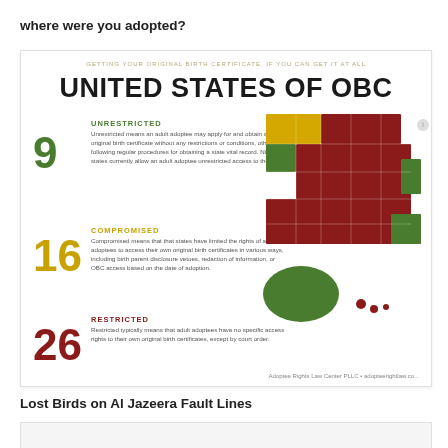where were you adopted?
[Figure (infographic): United States of OBC infographic showing a color-coded map of the US with statistics: 9 Unrestricted states (green), 16 Compromised states (yellow), 26 Restricted states (red), explaining OBC access rights for adult adoptees. Source: Adoptee Rights Law Center PLLC.]
Lost Birds on Al Jazeera Fault Lines